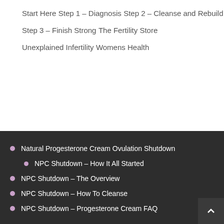Start Here
Step 1 – Diagnosis
Step 2 – Cleanse and Rebuild
Step 3 – Finish Strong
The Fertility Store
Unexplained Infertility
Womens Health
Natural Progesterone Cream Ovulation Shutdown
NPC Shutdown – How It All Started
NPC Shutdown – The Overview
NPC Shutdown – How To Cleanse
NPC Shutdown – Progesterone Cream FAQ